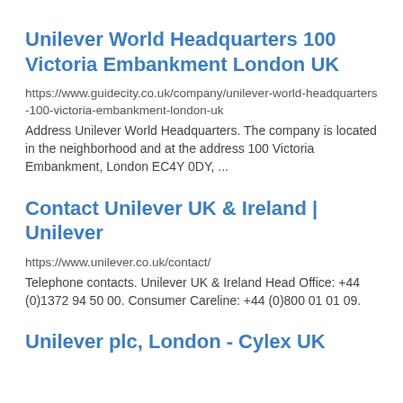Unilever World Headquarters 100 Victoria Embankment London UK
https://www.guidecity.co.uk/company/unilever-world-headquarters-100-victoria-embankment-london-uk
Address Unilever World Headquarters. The company is located in the neighborhood and at the address 100 Victoria Embankment, London EC4Y 0DY, ...
Contact Unilever UK & Ireland | Unilever
https://www.unilever.co.uk/contact/
Telephone contacts. Unilever UK & Ireland Head Office: +44 (0)1372 94 50 00. Consumer Careline: +44 (0)800 01 01 09.
Unilever plc, London - Cylex UK